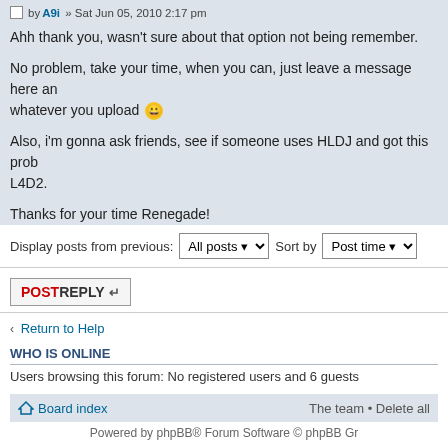by A9i » Sat Jun 05, 2010 2:17 pm
Ahh thank you, wasn't sure about that option not being remember.
No problem, take your time, when you can, just leave a message here an whatever you upload :)
Also, i'm gonna ask friends, see if someone uses HLDJ and got this prob L4D2.
Thanks for your time Renegade!
Display posts from previous: All posts  Sort by Post time
POSTREPLY
Return to Help
WHO IS ONLINE
Users browsing this forum: No registered users and 6 guests
Board index  The team • Delete all
Powered by phpBB® Forum Software © phpBB Gr